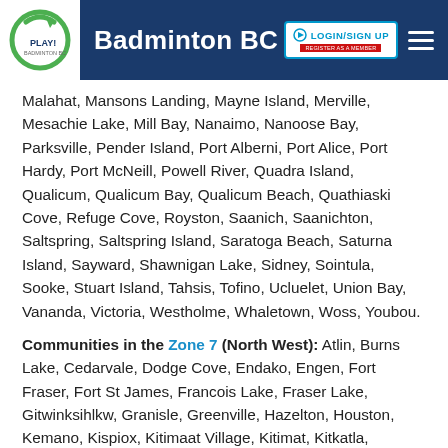Badminton BC
Malahat, Mansons Landing, Mayne Island, Merville, Mesachie Lake, Mill Bay, Nanaimo, Nanoose Bay, Parksville, Pender Island, Port Alberni, Port Alice, Port Hardy, Port McNeill, Powell River, Quadra Island, Qualicum, Qualicum Bay, Qualicum Beach, Quathiaski Cove, Refuge Cove, Royston, Saanich, Saanichton, Saltspring, Saltspring Island, Saratoga Beach, Saturna Island, Sayward, Shawnigan Lake, Sidney, Sointula, Sooke, Stuart Island, Tahsis, Tofino, Ucluelet, Union Bay, Vananda, Victoria, Westholme, Whaletown, Woss, Youbou.
Communities in the Zone 7 (North West): Atlin, Burns Lake, Cedarvale, Dodge Cove, Endako, Engen, Fort Fraser, Fort St James, Francois Lake, Fraser Lake, Gitwinksihlkw, Granisle, Greenville, Hazelton, Houston, Kemano, Kispiox, Kitimaat Village, Kitimat, Kitkatla, Kitwanga, Masset, Moricetown, New Aiyansh, New Hazelton, New Remo, Port Clements, Port Edward, Prince Rupert, Queen Charlotte City, Quick, Sandspit, Smithers, South